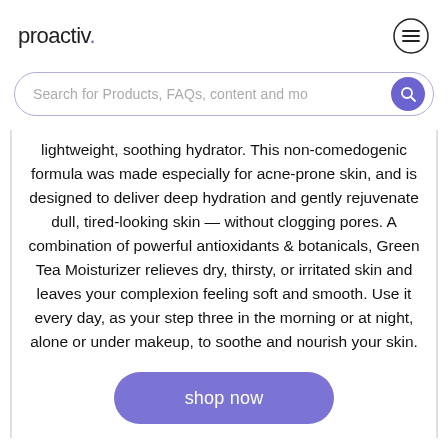proactiv.
Search for Products, FAQs, content and mo
lightweight, soothing hydrator. This non-comedogenic formula was made especially for acne-prone skin, and is designed to deliver deep hydration and gently rejuvenate dull, tired-looking skin — without clogging pores. A combination of powerful antioxidants & botanicals, Green Tea Moisturizer relieves dry, thirsty, or irritated skin and leaves your complexion feeling soft and smooth. Use it every day, as your step three in the morning or at night, alone or under makeup, to soothe and nourish your skin.
shop now